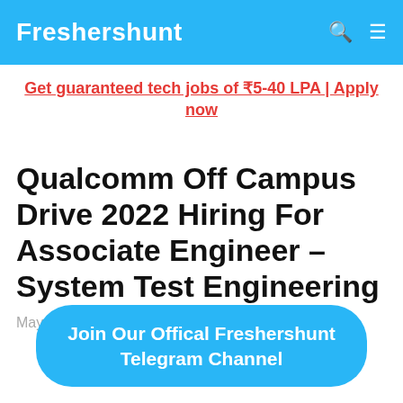Freshershunt
Get guaranteed tech jobs of ₹5-40 LPA | Apply now
Qualcomm Off Campus Drive 2022 Hiring For Associate Engineer – System Test Engineering
May 31, 2022 by Admin
Join Our Offical Freshershunt Telegram Channel